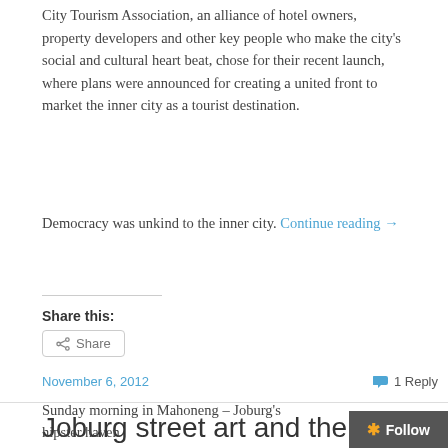City Tourism Association, an alliance of hotel owners, property developers and other key people who make the city's social and cultural heart beat, chose for their recent launch, where plans were announced for creating a united front to market the inner city as a tourist destination.
Democracy was unkind to the inner city. Continue reading →
Share this:
Share
November 6, 2012
1 Reply
Joburg street art and the Rasty factor
Sunday morning in Mahoneng – Joburg's hipster haven
Follow